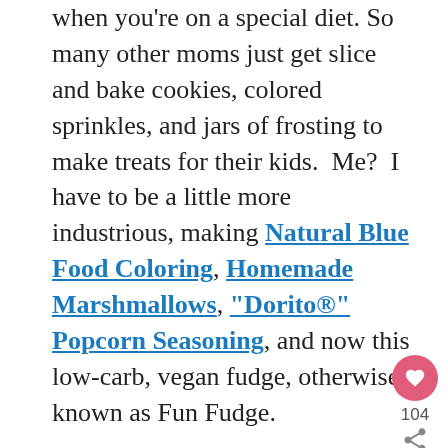when you're on a special diet. So many other moms just get slice and bake cookies, colored sprinkles, and jars of frosting to make treats for their kids.  Me?  I have to be a little more industrious, making Natural Blue Food Coloring, Homemade Marshmallows, "Dorito®" Popcorn Seasoning, and now this low-carb, vegan fudge, otherwise known as Fun Fudge.

I originally developed this recipe years ago as a way to have some fun naturally-colored treats for Easter.  I called it Easter Fudge and then later